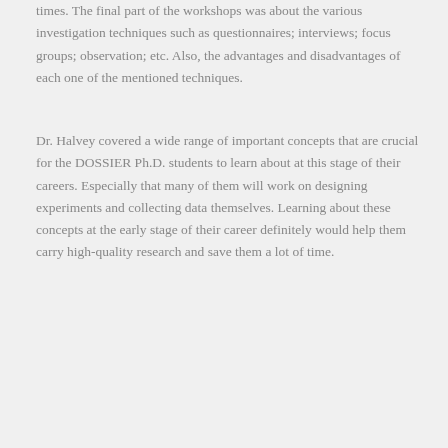times. The final part of the workshops was about the various investigation techniques such as questionnaires; interviews; focus groups; observation; etc. Also, the advantages and disadvantages of each one of the mentioned techniques.
Dr. Halvey covered a wide range of important concepts that are crucial for the DOSSIER Ph.D. students to learn about at this stage of their careers. Especially that many of them will work on designing experiments and collecting data themselves. Learning about these concepts at the early stage of their career definitely would help them carry high-quality research and save them a lot of time.